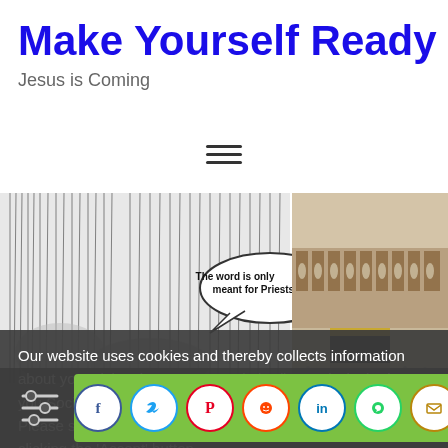Make Yourself Ready
Jesus is Coming
[Figure (illustration): Hamburger menu icon with three horizontal lines]
[Figure (photo): Banner image showing a black-and-white comic/illustration on the left with speech bubble 'The word is only meant for Priests!' and a photo of the Kaaba in Mecca on the right]
Our website uses cookies and thereby collects information about your visit to improve our website (by analyzing), show you Social Media content and relevant advertisements. Please see our cookies page for further details or agree by clicking the 'Accept' button.
[Figure (infographic): Settings/filter icon on the left and a row of social media share buttons (Facebook, Twitter, Pinterest, Reddit, LinkedIn, WhatsApp, Email) on a green background]